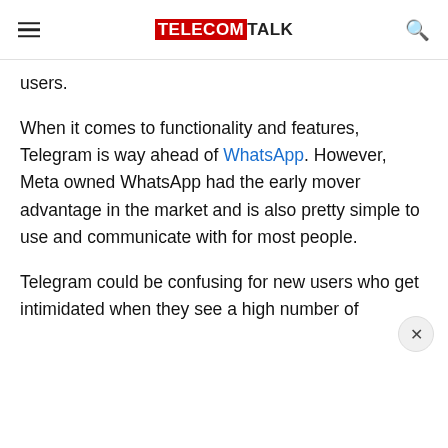TELECOMTALK
users.
When it comes to functionality and features, Telegram is way ahead of WhatsApp. However, Meta owned WhatsApp had the early mover advantage in the market and is also pretty simple to use and communicate with for most people.
Telegram could be confusing for new users who get intimidated when they see a high number of